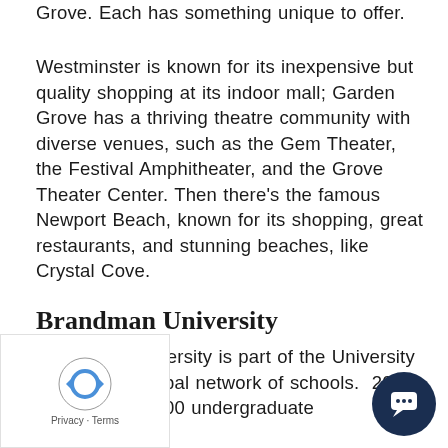Grove. Each has something unique to offer.
Westminster is known for its inexpensive but quality shopping at its indoor mall; Garden Grove has a thriving theatre community with diverse venues, such as the Gem Theater, the Festival Amphitheater, and the Grove Theater Center. Then there’s the famous Newport Beach, known for its shopping, great restaurants, and stunning beaches, like Crystal Cove.
Brandman University
Brandman University is part of the University of chusetts Global network of schools.  2020, it had about 6000 undergraduate